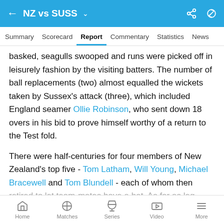NZ vs SUSS
Summary  Scorecard  Report  Commentary  Statistics  News
basked, seagulls swooped and runs were picked off in leisurely fashion by the visiting batters. The number of ball replacements (two) almost equalled the wickets taken by Sussex's attack (three), which included England seamer Ollie Robinson, who sent down 18 overs in his bid to prove himself worthy of a return to the Test fold.
There were half-centuries for four members of New Zealand's top five - Tom Latham, Will Young, Michael Bracewell and Tom Blundell - each of whom then retired to let team-mates have a bat. As far as leg...
Home  Matches  Series  Video  More